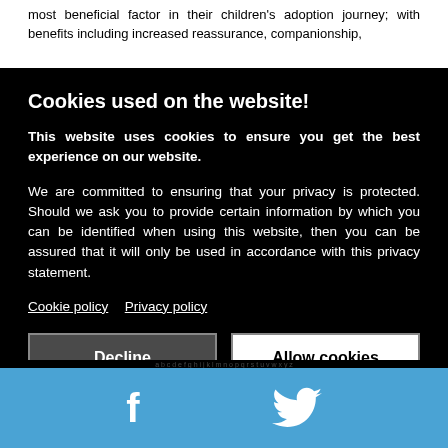most beneficial factor in their children's adoption journey; with benefits including increased reassurance, companionship,
Cookies used on the website!
This website uses cookies to ensure you get the best experience on our website.
We are committed to ensuring that your privacy is protected. Should we ask you to provide certain information by which you can be identified when using this website, then you can be assured that it will only be used in accordance with this privacy statement.
Cookie policy   Privacy policy
Decline   Allow cookies
[Figure (infographic): Blue social media bar at the bottom with Facebook 'f' icon and Twitter bird icon in white]